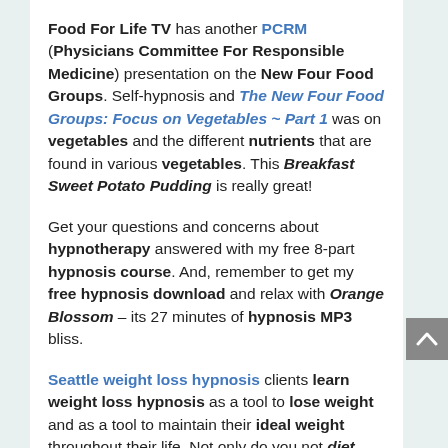Food For Life TV has another PCRM (Physicians Committee For Responsible Medicine) presentation on the New Four Food Groups. Self-hypnosis and The New Four Food Groups: Focus on Vegetables ~ Part 1 was on vegetables and the different nutrients that are found in various vegetables. This Breakfast Sweet Potato Pudding is really great!
Get your questions and concerns about hypnotherapy answered with my free 8-part hypnosis course. And, remember to get my free hypnosis download and relax with Orange Blossom – its 27 minutes of hypnosis MP3 bliss.
Seattle weight loss hypnosis clients learn weight loss hypnosis as a tool to lose weight and as a tool to maintain their ideal weight throughout their life. Not only do you not diet with weight loss self-hypnosis...